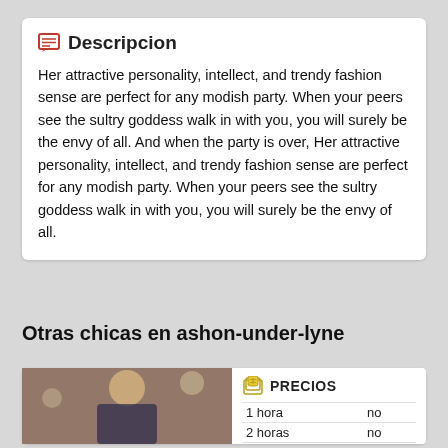Descripcion
Her attractive personality, intellect, and trendy fashion sense are perfect for any modish party. When your peers see the sultry goddess walk in with you, you will surely be the envy of all. And when the party is over, Her attractive personality, intellect, and trendy fashion sense are perfect for any modish party. When your peers see the sultry goddess walk in with you, you will surely be the envy of all.
Otras chicas en ashon-under-lyne
[Figure (photo): Photo of a blonde woman]
|  | PRECIOS |  |
| --- | --- | --- |
| 1 hora | no |  |
| 2 horas | no |  |
| toda la noche | no |  |